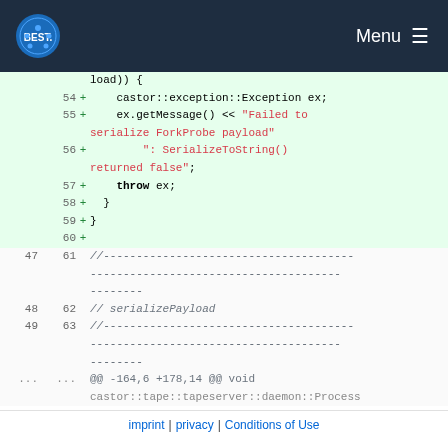BEST Menu
Code diff showing lines 54-63 and context. Lines 54-60 are additions (green). Line 54: + castor::exception::Exception ex; Line 55: + ex.getMessage() << "Failed to serialize ForkProbe payload" Line 56: + ": SerializeToString() returned false"; Line 57: + throw ex; Line 58: + } Line 59: + } Line 60: + Lines 47/61, 48/62, 49/63: separator comments and // serializePayload ... @@ -164,6 +178,14 @@ void castor::tape::tapeserver::daemon::Process
imprint | privacy | Conditions of Use